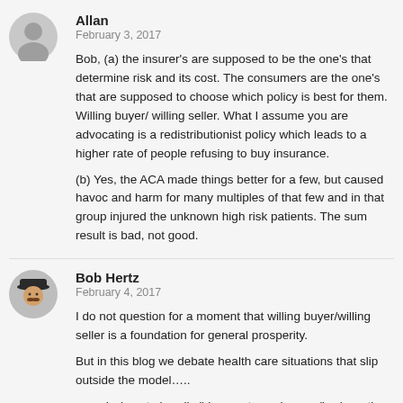Allan
February 3, 2017
Bob, (a) the insurer's are supposed to be the one's that determine risk and its cost. The consumers are the one's that are supposed to choose which policy is best for them. Willing buyer/ willing seller. What I assume you are advocating is a redistributionist policy which leads to a higher rate of people refusing to buy insurance.
(b) Yes, the ACA made things better for a few, but caused havoc and harm for many multiples of that few and in that group injured the unknown high risk patients. The sum result is bad, not good.
Bob Hertz
February 4, 2017
I do not question for a moment that willing buyer/willing seller is a foundation for general prosperity.
But in this blog we debate health care situations that slip outside the model…..
namely, how to handle "desperate exchanges", where the buyer is desperate for ER care or a specialty drug, and the seller (i.e. hospital or drug company) can extort